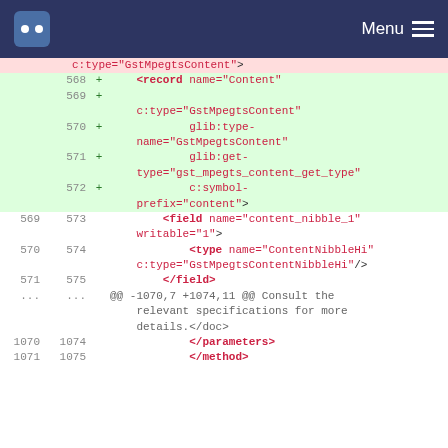Menu
[Figure (screenshot): Code diff view showing XML changes. Deleted row with c:type="GstMpegtsContent">. Added rows 568-572 with record, c:type, glib:type-name, glib:get-type, c:symbol-prefix attributes. Context rows 569-575 with field, type, /field elements. Info row with @@ -1070,7 +1074,11 @@ Consult the relevant specifications for more details.</doc>. Context rows 1070-1075 with </parameters> and </method>.]